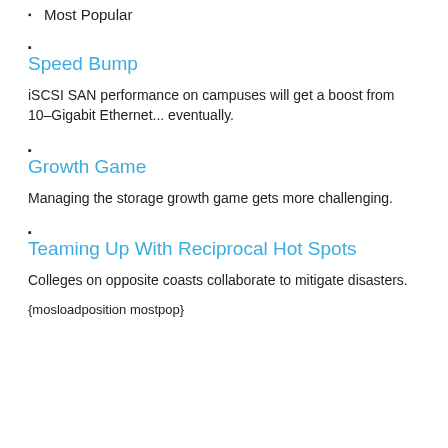Most Popular
Speed Bump
iSCSI SAN performance on campuses will get a boost from 10-Gigabit Ethernet... eventually.
Growth Game
Managing the storage growth game gets more challenging.
Teaming Up With Reciprocal Hot Spots
Colleges on opposite coasts collaborate to mitigate disasters.
{mosloadposition mostpop}